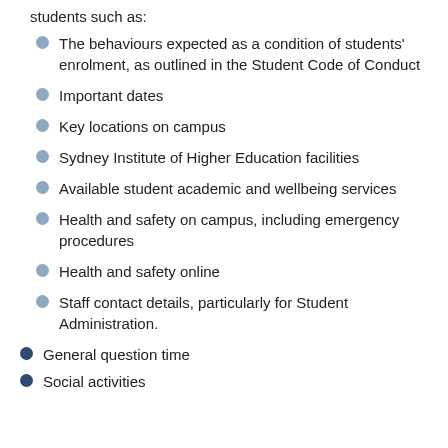students such as:
The behaviours expected as a condition of students' enrolment, as outlined in the Student Code of Conduct
Important dates
Key locations on campus
Sydney Institute of Higher Education facilities
Available student academic and wellbeing services
Health and safety on campus, including emergency procedures
Health and safety online
Staff contact details, particularly for Student Administration.
General question time
Social activities